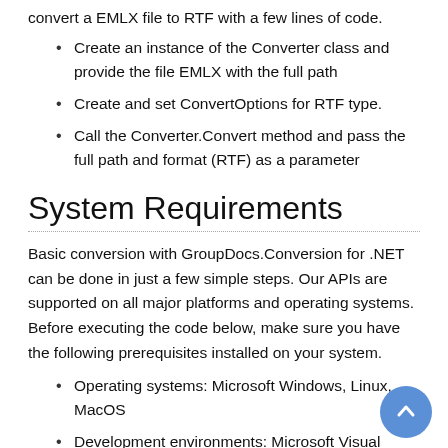convert a EMLX file to RTF with a few lines of code.
Create an instance of the Converter class and provide the file EMLX with the full path
Create and set ConvertOptions for RTF type.
Call the Converter.Convert method and pass the full path and format (RTF) as a parameter
System Requirements
Basic conversion with GroupDocs.Conversion for .NET can be done in just a few simple steps. Our APIs are supported on all major platforms and operating systems. Before executing the code below, make sure you have the following prerequisites installed on your system.
Operating systems: Microsoft Windows, Linux, MacOS
Development environments: Microsoft Visual Studio,